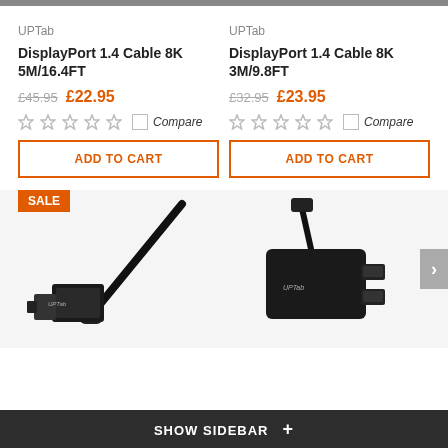UPTab
DisplayPort 1.4 Cable 8K 5M/16.4FT
£45.95  £22.95
Compare
ADD TO CART
UPTab
DisplayPort 1.4 Cable 8K 3M/9.8FT
£32.95  £23.95
Compare
ADD TO CART
[Figure (photo): SALE badge with UPTab DisplayPort 1.4 cable (USB-C to DisplayPort) black cable product photo]
[Figure (photo): UPTab Mini DisplayPort to dual HDMI adapter black product photo]
SHOW SIDEBAR +